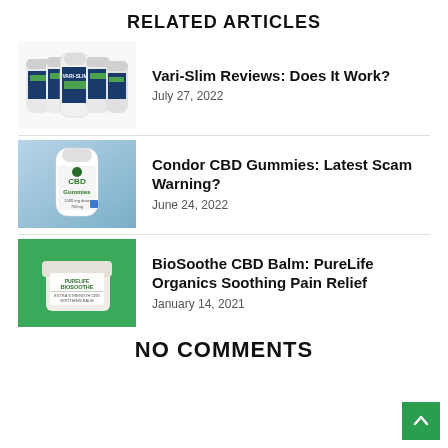RELATED ARTICLES
[Figure (photo): Row of Vari-Slim supplement bottles, white with blue labels]
Vari-Slim Reviews: Does It Work?
July 27, 2022
[Figure (photo): Condor CBD Gummies bottle, white on gradient blue background]
Condor CBD Gummies: Latest Scam Warning?
June 24, 2022
[Figure (photo): BioSoothe CBD Balm jar on green background]
BioSoothe CBD Balm: PureLife Organics Soothing Pain Relief
January 14, 2021
NO COMMENTS